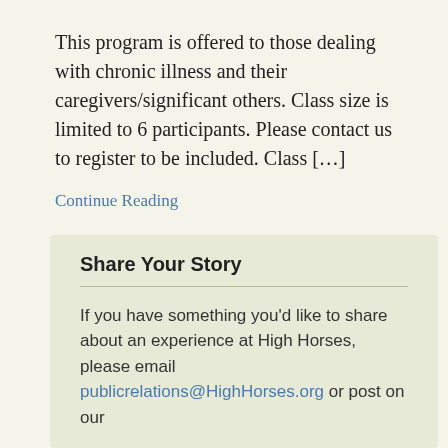This program is offered to those dealing with chronic illness and their caregivers/significant others. Class size is limited to 6 participants. Please contact us to register to be included. Class […]
Continue Reading
1  2  …  11  Next →
Share Your Story
If you have something you'd like to share about an experience at High Horses, please email publicrelations@HighHorses.org or post on our